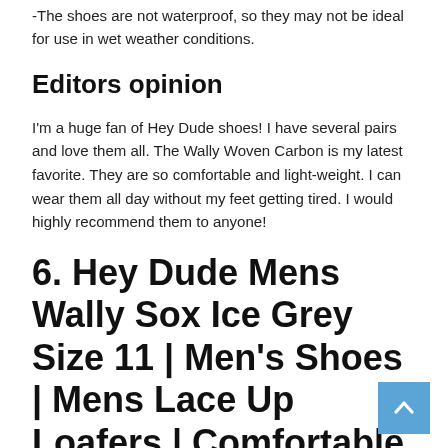-The shoes are not waterproof, so they may not be ideal for use in wet weather conditions.
Editors opinion
I'm a huge fan of Hey Dude shoes! I have several pairs and love them all. The Wally Woven Carbon is my latest favorite. They are so comfortable and light-weight. I can wear them all day without my feet getting tired. I would highly recommend them to anyone!
6. Hey Dude Mens Wally Sox Ice Grey Size 11 | Men's Shoes | Mens Lace Up Loafers | Comfortable & Light-Weight